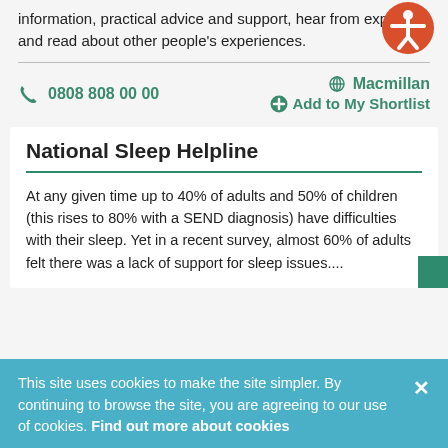information, practical advice and support, hear from experts and read about other people's experiences.
📞 0808 808 00 00   🌐 Macmillan   ⊕ Add to My Shortlist
National Sleep Helpline
At any given time up to 40% of adults and 50% of children (this rises to 80% with a SEND diagnosis) have difficulties with their sleep. Yet in a recent survey, almost 60% of adults felt there was a lack of support for sleep issues....
This site uses cookies to make the site simpler. By continuing to browse the site, you are agreeing to our use of cookies. Find out more about cookies